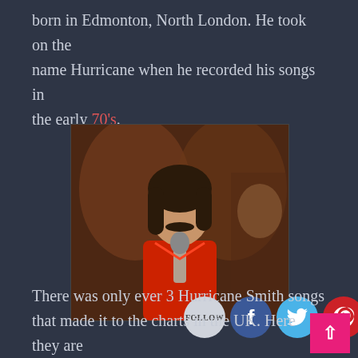born in Edmonton, North London. He took on the name Hurricane when he recorded his songs in the early 70's.
[Figure (photo): Man in red shirt holding a microphone, with social media buttons overlaid (Follow, Facebook, Twitter, Pinterest)]
There was only ever 3 Hurricane Smith songs that made it to the charts in the UK. Here they are